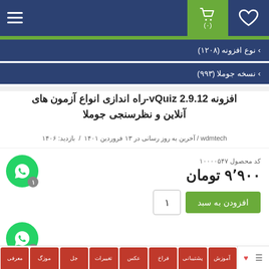Navigation bar with heart, cart (0), and menu icons
نوع افزونه (۱۲۰۸)
نسخه جوملا (۹۹۳)
افزونه vQuiz 2.9.12-راه اندازی انواع آزمون های آنلاین و نظرسنجی جوملا
wdmtech / آخرین به روز رسانی در ۱۳ فروردین ۱۴۰۱ / بازدید: ۱۴۰۶
کد محصول ۱۰۰۰۰۵۴۷
۹٬۹۰۰ تومان
افزودن به سبد